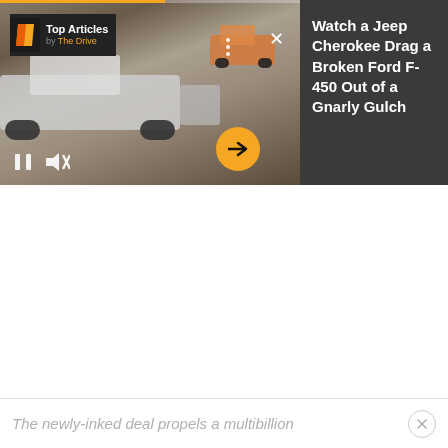[Figure (screenshot): Video player widget showing a Jeep Cherokee dragging a Ford F-450 out of a rocky gulch. The video panel shows trucks on a rocky terrain with playback controls (pause, mute), a progress bar, a next arrow button, and a three-dots menu. An orange close X button is visible. A 'Top Articles by The Drive' badge appears top-left. The right panel shows a dark gray info panel with the article title.]
Watch a Jeep Cherokee Drag a Broken Ford F-450 Out of a Gnarly Gulch
The newly-inked deal propels a multibillion